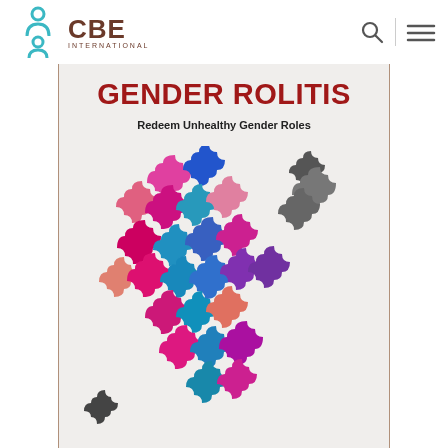CBE International
[Figure (illustration): Book cover for 'Gender Rolitis: Redeem Unhealthy Gender Roles' featuring colorful interlocking puzzle pieces in pink, blue, purple, coral, and dark gray arranged in two human-like figures on a light gray background.]
GENDER ROLITIS
Redeem Unhealthy Gender Roles